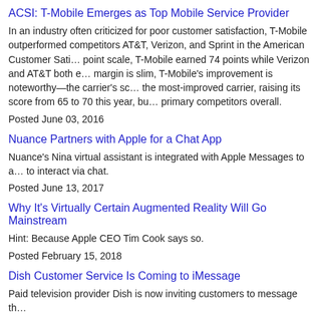ACSI: T-Mobile Emerges as Top Mobile Service Provider
In an industry often criticized for poor customer satisfaction, T-Mobile outperformed competitors AT&T, Verizon, and Sprint in the American Customer Satisfaction Index. On a 100-point scale, T-Mobile earned 74 points while Verizon and AT&T both earned 70. Although the margin is slim, T-Mobile's improvement is noteworthy—the carrier's score Sprint was named the most-improved carrier, raising its score from 65 to 70 this year, but still trails its primary competitors overall.
Posted June 03, 2016
Nuance Partners with Apple for a Chat App
Nuance's Nina virtual assistant is integrated with Apple Messages to allow customers to interact via chat.
Posted June 13, 2017
Why It's Virtually Certain Augmented Reality Will Go Mainstream
Hint: Because Apple CEO Tim Cook says so.
Posted February 15, 2018
Dish Customer Service Is Coming to iMessage
Paid television provider Dish is now inviting customers to message th
Posted July 27, 2018